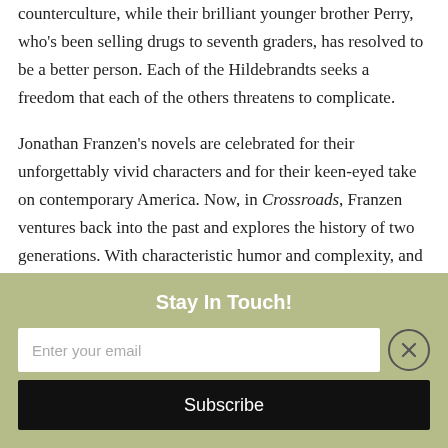counterculture, while their brilliant younger brother Perry, who's been selling drugs to seventh graders, has resolved to be a better person. Each of the Hildebrandts seeks a freedom that each of the others threatens to complicate.

Jonathan Franzen's novels are celebrated for their unforgettably vivid characters and for their keen-eyed take on contemporary America. Now, in Crossroads, Franzen ventures back into the past and explores the history of two generations. With characteristic humor and complexity, and with even greater warmth, he conjures a world that resonates powerfully with our own.
Stay In Touch!
Enter your email
Subscribe